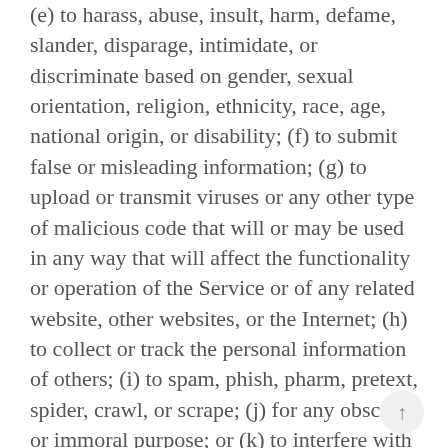(e) to harass, abuse, insult, harm, defame, slander, disparage, intimidate, or discriminate based on gender, sexual orientation, religion, ethnicity, race, age, national origin, or disability; (f) to submit false or misleading information; (g) to upload or transmit viruses or any other type of malicious code that will or may be used in any way that will affect the functionality or operation of the Service or of any related website, other websites, or the Internet; (h) to collect or track the personal information of others; (i) to spam, phish, pharm, pretext, spider, crawl, or scrape; (j) for any obscene or immoral purpose; or (k) to interfere with or circumvent the security features of the Service or any related website, other websites, or the Internet. We reserve the right to terminate your use of the Service or any related website for violating any of the prohibited uses.